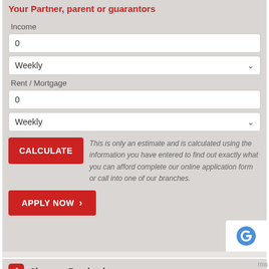Your Partner, parent or guarantors
Income
0
Weekly
Rent / Mortgage
0
Weekly
CALCULATE
This is only an estimate and is calculated using the information you have entered to find out exactly what you can afford complete our online application form or call into one of our branches.
APPLY NOW
Share on Facebook